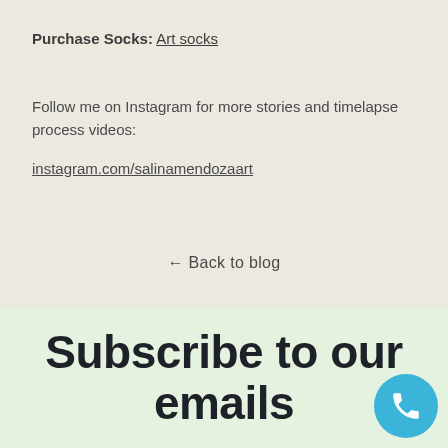Purchase Socks: Art socks
Follow me on Instagram for more stories and timelapse process videos:
instagram.com/salinamendozaart
← Back to blog
Subscribe to our emails
[Figure (other): Blue circular phone/call button icon in bottom right corner]